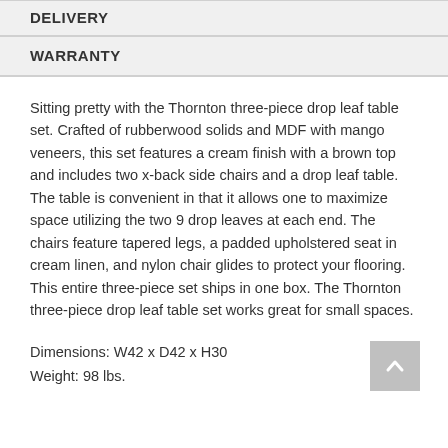DELIVERY
WARRANTY
Sitting pretty with the Thornton three-piece drop leaf table set. Crafted of rubberwood solids and MDF with mango veneers, this set features a cream finish with a brown top and includes two x-back side chairs and a drop leaf table. The table is convenient in that it allows one to maximize space utilizing the two 9 drop leaves at each end. The chairs feature tapered legs, a padded upholstered seat in cream linen, and nylon chair glides to protect your flooring. This entire three-piece set ships in one box. The Thornton three-piece drop leaf table set works great for small spaces.
Dimensions: W42 x D42 x H30
Weight: 98 lbs.